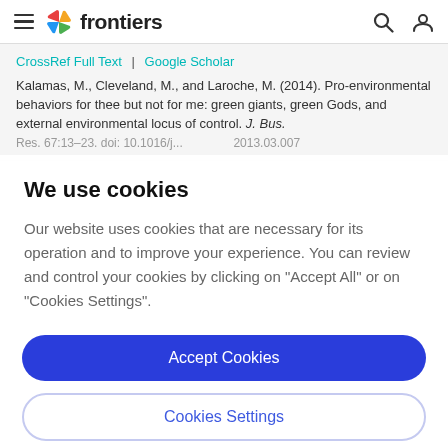frontiers
CrossRef Full Text | Google Scholar
Kalamas, M., Cleveland, M., and Laroche, M. (2014). Pro-environmental behaviors for thee but not for me: green giants, green Gods, and external environmental locus of control. J. Bus. Res. 67:13–23. doi: 10.1016/j.jbusres.2013.03.007
We use cookies
Our website uses cookies that are necessary for its operation and to improve your experience. You can review and control your cookies by clicking on "Accept All" or on "Cookies Settings".
Accept Cookies
Cookies Settings